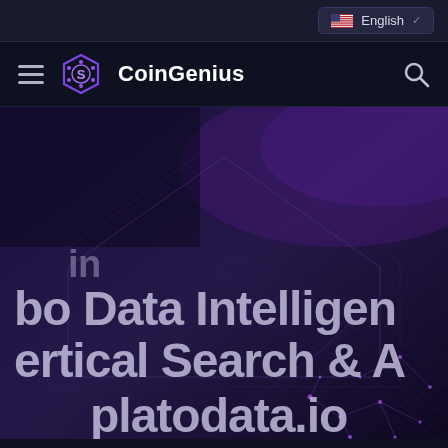English
CoinGenius
[Figure (screenshot): Hero banner image with dark purple/blue digital network background showing large partial text: 'bo Data Intelligen', 'ertical Search & A', 'platodata.io' overlaid on a glowing network grid visualization with hexagonal shapes]